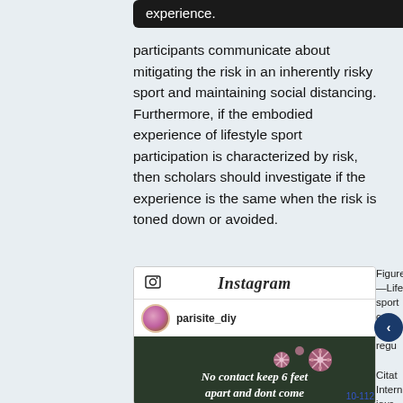experience.
participants communicate about mitigating the risk in an inherently risky sport and maintaining social distancing. Furthermore, if the embodied experience of lifestyle sport participation is characterized by risk, then scholars should investigate if the experience is the same when the risk is toned down or avoided.
[Figure (screenshot): Instagram post by parisite_diy showing a dark background with snowflake/coronavirus graphics and text: 'No contact keep 6 feet apart and dont come or hang out in groups']
Figure —Life sport com self- regu Citation Intern jour Com